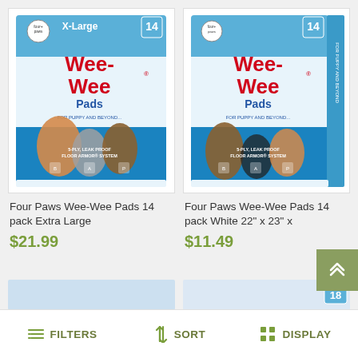[Figure (photo): Four Paws Wee-Wee Pads X-Large 14 pack product box — blue and white box with dogs on front, '5-Ply Leak Proof Floor Armor System' text]
Four Paws Wee-Wee Pads 14 pack Extra Large
$21.99
[Figure (photo): Four Paws Wee-Wee Pads 14 pack White 22" x 23" x product box — blue and white box with dogs on front, '5-Ply Leak Proof Floor Armor System' text]
Four Paws Wee-Wee Pads 14 pack White 22" x 23" x
$11.49